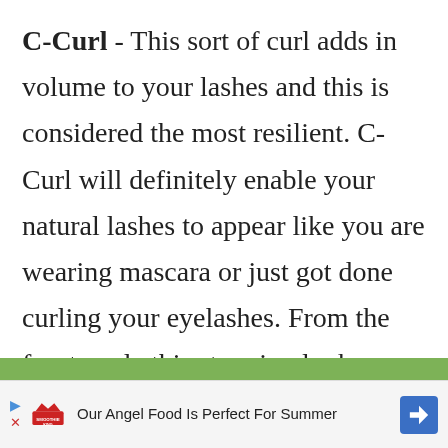C-Curl - This sort of curl adds in volume to your lashes and this is considered the most resilient. C-Curl will definitely enable your natural lashes to appear like you are wearing mascara or just got done curling your eyelashes. From the front angle this stunning look would be most obvious. When it comes to clients who have straight eyelashes the C-Curl is recommended for an impressive, wonderful look.
[Figure (other): Green horizontal bar separator]
[Figure (other): Advertisement banner: Smoothie King - Our Angel Food Is Perfect For Summer, with play and cancel icons on left and blue diamond arrow on right]